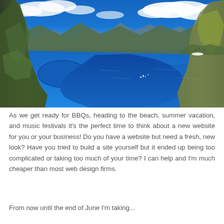[Figure (photo): Aerial panoramic photograph of Norwegian fjords landscape with mountains, blue water, small islands with settlements, and dramatic cloudy blue sky. Lofoten islands-style scenery with green mossy cliffs in foreground and vast blue ocean in background.]
As we get ready for BBQs, heading to the beach, summer vacation, and music festivals it's the perfect time to think about a new website for you or your business! Do you have a website but need a fresh, new look? Have you tried to build a site yourself but it ended up being too complicated or taking too much of your time? I can help and I'm much cheaper than most web design firms.
From now until the end of June I'm taking...